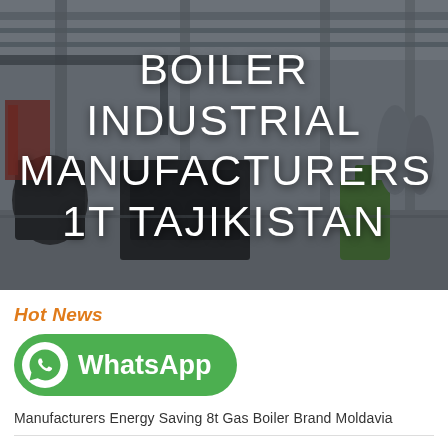[Figure (photo): Industrial factory/workshop interior with large machinery, boilers, cranes and equipment visible. Dark overlay with white bold text overlay reading 'BOILER INDUSTRIAL MANUFACTURERS 1T TAJIKISTAN'.]
BOILER INDUSTRIAL MANUFACTURERS 1T TAJIKISTAN
Hot News
[Figure (logo): WhatsApp button — green rounded rectangle with WhatsApp phone icon and text 'WhatsApp']
Manufacturers Energy Saving 8t Gas Boiler Brand Moldavia